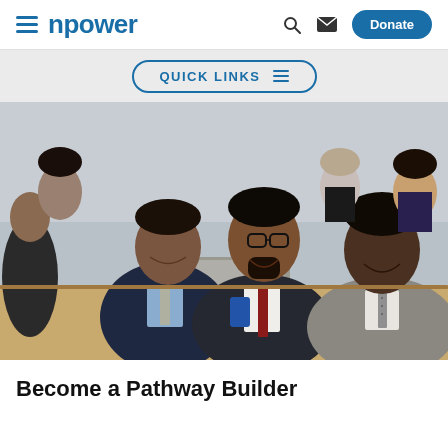npower — Donate
QUICK LINKS
[Figure (photo): Three professionally dressed men in suits smiling, seated at a conference table with a laptop open in front of them. Additional people are visible in the background in a classroom/meeting setting.]
Become a Pathway Builder